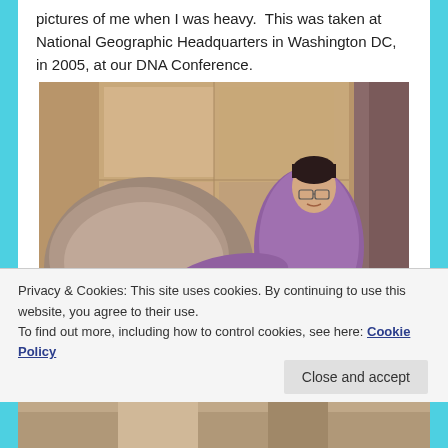pictures of me when I was heavy.  This was taken at National Geographic Headquarters in Washington DC, in 2005, at our DNA Conference.
[Figure (photo): A woman in a purple shirt standing outdoors near large granite/stone blocks, with greenery visible in the background. The setting appears to be outside a building, taken at National Geographic Headquarters.]
Privacy & Cookies: This site uses cookies. By continuing to use this website, you agree to their use.
To find out more, including how to control cookies, see here: Cookie Policy
Close and accept